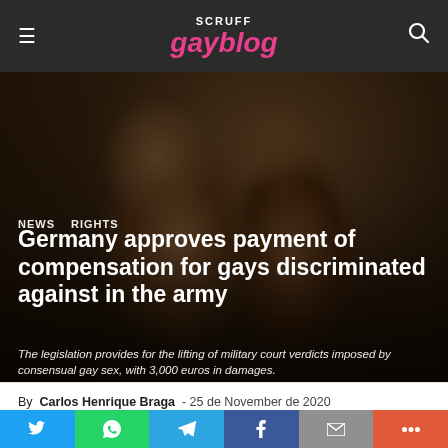SCRUFF gayblog
[Figure (photo): Two men in military uniforms kissing/embracing closely, dark atmospheric lighting]
NEWS   RIGHTS
Germany approves payment of compensation for gays discriminated against in the army
The legislation provides for the lifting of military court verdicts imposed by consensual gay sex, with 3,000 euros in damages.
By Carlos Henrique Braga - 25 de November de 2020
Twitter | WhatsApp | Telegram | Facebook | Email | More